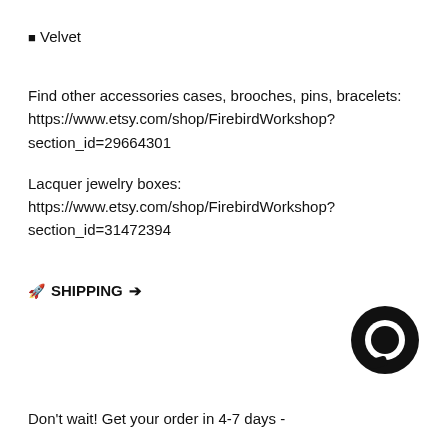■ Velvet
Find other accessories cases, brooches, pins, bracelets: https://www.etsy.com/shop/FirebirdWorkshop?section_id=29664301
Lacquer jewelry boxes: https://www.etsy.com/shop/FirebirdWorkshop?section_id=31472394
🚀 SHIPPING ➔
[Figure (illustration): Black circular chat bubble icon in the bottom right corner]
Don't wait! Get your order in 4-7 days -